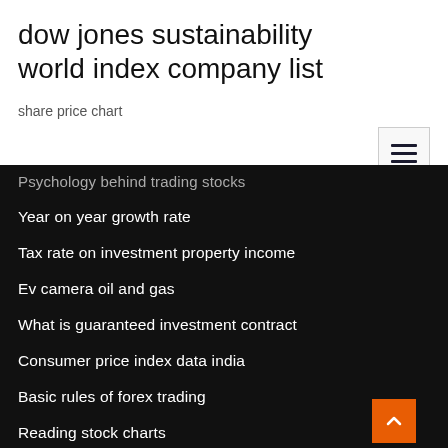dow jones sustainability world index company list
share price chart
Psychology behind trading stocks
Year on year growth rate
Tax rate on investment property income
Ev camera oil and gas
What is guaranteed investment contract
Consumer price index data india
Basic rules of forex trading
Reading stock charts
Corporate tax rate over time